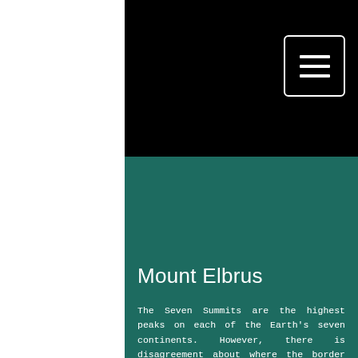[Figure (other): Black header bar with hamburger menu icon (three horizontal white lines inside a white-bordered rectangle) in the top-right corner]
[Figure (other): Dark teal/green background image area representing Mount Elbrus mountain scenery]
Mount Elbrus
The Seven Summits are the highest peaks on each of the Earth's seven continents. However, there is disagreement about where the border between Europe and Asia is located in Russia. One commonly cited boundary for the easternmost edge of Europe is the Ural Mountains, which brings the Caucasus Mountains within